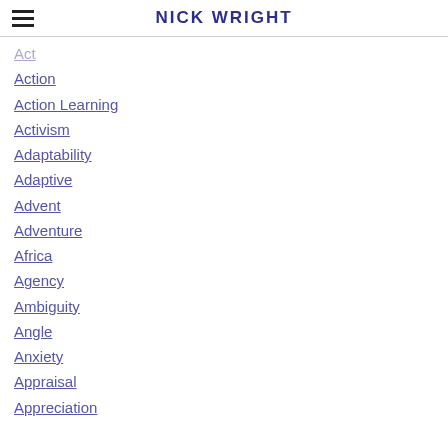NICK WRIGHT
Act
Action
Action Learning
Activism
Adaptability
Adaptive
Advent
Adventure
Africa
Agency
Ambiguity
Angle
Anxiety
Appraisal
Appreciation